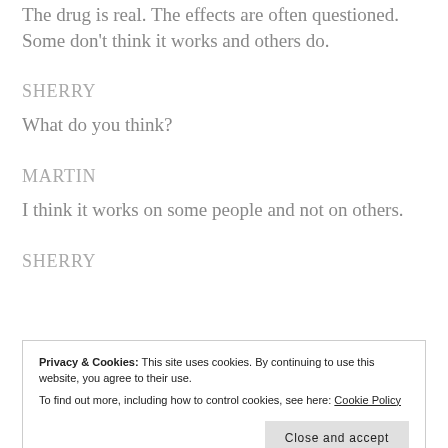The drug is real. The effects are often questioned. Some don't think it works and others do.
SHERRY
What do you think?
MARTIN
I think it works on some people and not on others.
SHERRY
Privacy & Cookies: This site uses cookies. By continuing to use this website, you agree to their use. To find out more, including how to control cookies, see here: Cookie Policy
If I didn't, he'd be dead right now.